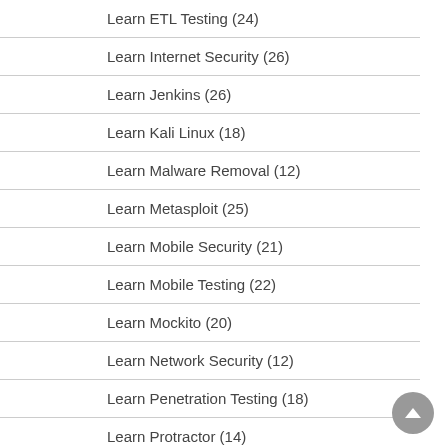Learn ETL Testing (24)
Learn Internet Security (26)
Learn Jenkins (26)
Learn Kali Linux (18)
Learn Malware Removal (12)
Learn Metasploit (25)
Learn Mobile Security (21)
Learn Mobile Testing (22)
Learn Mockito (20)
Learn Network Security (12)
Learn Penetration Testing (18)
Learn Protractor (14)
Learn Python Penetration Testing (17)
Learn QC (17)
Learn QTest (40)